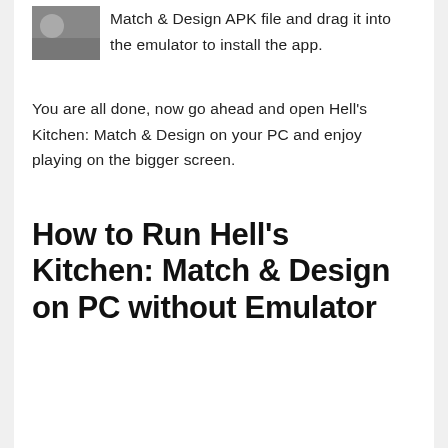Match & Design APK file and drag it into the emulator to install the app.
You are all done, now go ahead and open Hell's Kitchen: Match & Design on your PC and enjoy playing on the bigger screen.
How to Run Hell's Kitchen: Match & Design on PC without Emulator